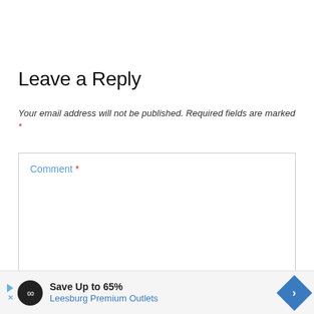Leave a Reply
Your email address will not be published. Required fields are marked *
Comment *
[Figure (infographic): Advertisement banner: Save Up to 65% Leesburg Premium Outlets with logo and navigation arrow icon]